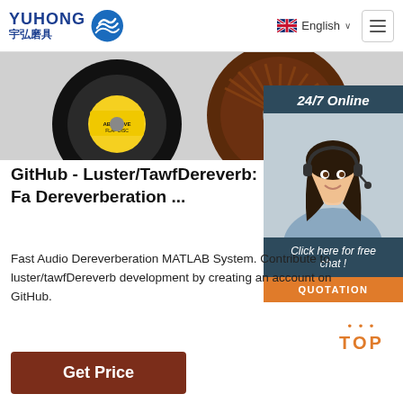[Figure (logo): YUHONG logo with Chinese characters 宇弘磨具 and blue wave/globe icon]
[Figure (photo): Navigation bar with English language selector and hamburger menu button]
[Figure (photo): Product image strip showing abrasive flap discs with yellow label]
[Figure (photo): 24/7 Online chat panel with female customer service agent wearing headset, Click here for free chat and QUOTATION button]
GitHub - Luster/TawfDereverb: Fa Dereverberation ...
Fast Audio Dereverberation MATLAB System. Contribute to luster/tawfDereverb development by creating an account on GitHub.
[Figure (other): TOP back-to-top button in orange with dot decoration]
Get Price